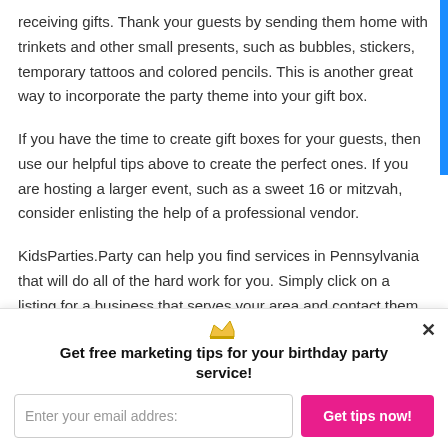receiving gifts. Thank your guests by sending them home with trinkets and other small presents, such as bubbles, stickers, temporary tattoos and colored pencils. This is another great way to incorporate the party theme into your gift box.
If you have the time to create gift boxes for your guests, then use our helpful tips above to create the perfect ones. If you are hosting a larger event, such as a sweet 16 or mitzvah, consider enlisting the help of a professional vendor.
KidsParties.Party can help you find services in Pennsylvania that will do all of the hard work for you. Simply click on a listing for a business that serves your area and contact them directly.
Get free marketing tips for your birthday party service!
Enter your email address
Get tips now!